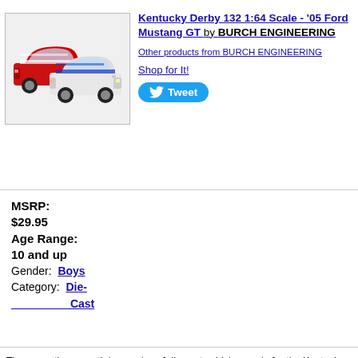[Figure (photo): Two die-cast Ford Mustang GT model cars — one red with white stripes, one white with blue stripes — displayed side by side on a white background.]
Kentucky Derby 132 1:64 Scale - '05 Ford Mustang GT by BURCH ENGINEERING
Other products from BURCH ENGINEERING
Shop for It!
Tweet
MSRP:
$29.95
Age Range:
10 and up
Gender: Boys
Category: Die-Cast
These are the seventh in a series of die cast vehicles made for the Kentucky Derb... They are 100% die cast metal and there are two color variations of this vehicle, li... to 1,000 sets made (1,000 of the red with white stripes and 1,000 of the white wit... stripes). No more of this design or color scheme will be made after these are gone... Mustang GT features rubber like tires, detailed painted chassis, serial number pri... the chassis, the official Kentucky Derby 132 logo, and KD 132 printed on the lice...